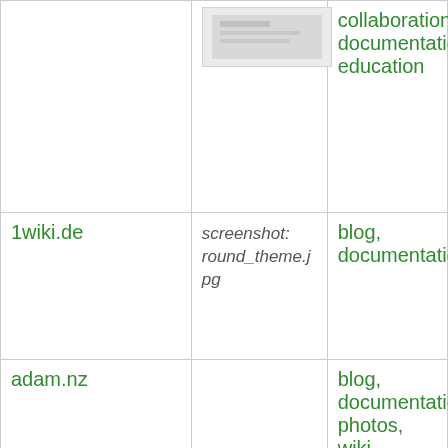|  | Screenshot | Tags |
| --- | --- | --- |
|  | [screenshot image] | collaboration, documentation, education |
| 1wiki.de | screenshot: round_theme.jpg | blog, documentation |
| adam.nz |  | blog, documentation, photos, wiki |
| Cafecodex | [screenshot image] | blog, collaboration, documentation |
| Kafran.net |  | collaboration, documentation, study |
| Fxfjcars.com |  | collaboration |